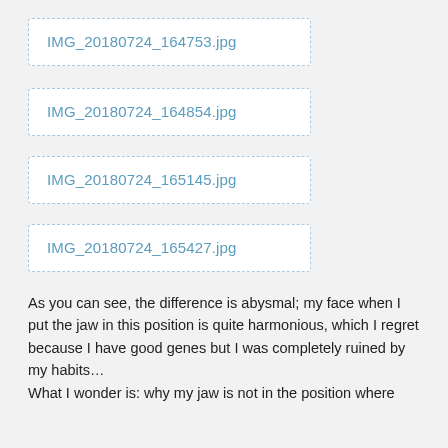[Figure (screenshot): Dotted border box showing file reference: IMG_20180724_164753.jpg]
[Figure (screenshot): Dotted border box showing file reference: IMG_20180724_164854.jpg]
[Figure (screenshot): Dotted border box showing file reference: IMG_20180724_165145.jpg]
[Figure (screenshot): Dotted border box showing file reference: IMG_20180724_165427.jpg]
As you can see, the difference is abysmal; my face when I put the jaw in this position is quite harmonious, which I regret because I have good genes but I was completely ruined by my habits…
What I wonder is: why my jaw is not in the position where